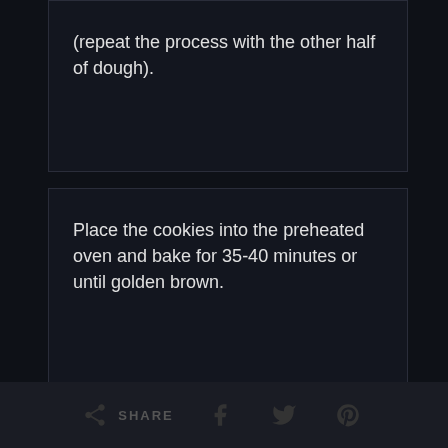(repeat the process with the other half of dough).
Place the cookies into the preheated oven and bake for 35-40 minutes or until golden brown.
SHARE